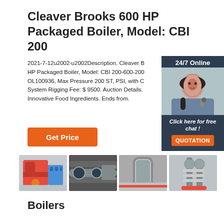Cleaver Brooks 600 HP Packaged Boiler, Model: CBI 200
2021-7-12u2002·u2002Description. Cleaver Brooks 600 HP Packaged Boiler, Model: CBI 200-600-200 OL100936, Max Pressure 200 ST, PSI, with C System Rigging Fee: $ 9500. Auction Details. Innovative Food Ingredients. Ends from.
[Figure (photo): Chat widget showing a woman with headset, 24/7 Online text, and QUOTATION button]
[Figure (photo): Get Price button (orange)]
[Figure (photo): Four product images: red industrial boiler, pipe fittings, cylindrical tank, pump equipment]
Boilers